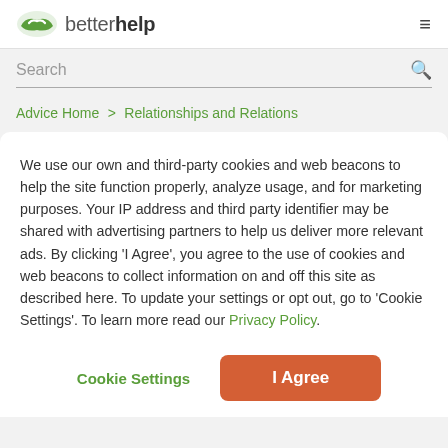betterhelp
Search
Advice Home > Relationships and Relations
We use our own and third-party cookies and web beacons to help the site function properly, analyze usage, and for marketing purposes. Your IP address and third party identifier may be shared with advertising partners to help us deliver more relevant ads. By clicking 'I Agree', you agree to the use of cookies and web beacons to collect information on and off this site as described here. To update your settings or opt out, go to 'Cookie Settings'. To learn more read our Privacy Policy.
Cookie Settings
I Agree